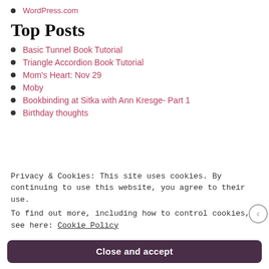WordPress.com
Top Posts
Basic Tunnel Book Tutorial
Triangle Accordion Book Tutorial
Mom's Heart: Nov 29
Moby
Bookbinding at Sitka with Ann Kresge- Part 1
Birthday thoughts
Privacy & Cookies: This site uses cookies. By continuing to use this website, you agree to their use. To find out more, including how to control cookies, see here: Cookie Policy
Close and accept